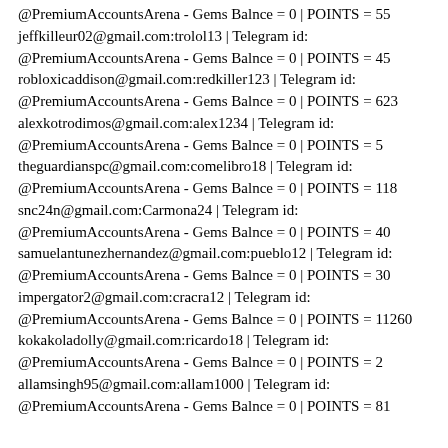@PremiumAccountsArena - Gems Balnce = 0 | POINTS = 55
jeffkilleur02@gmail.com:trolol13 | Telegram id:
@PremiumAccountsArena - Gems Balnce = 0 | POINTS = 45
robloxicaddison@gmail.com:redkiller123 | Telegram id:
@PremiumAccountsArena - Gems Balnce = 0 | POINTS = 623
alexkotrodimos@gmail.com:alex1234 | Telegram id:
@PremiumAccountsArena - Gems Balnce = 0 | POINTS = 5
theguardianspc@gmail.com:comelibro18 | Telegram id:
@PremiumAccountsArena - Gems Balnce = 0 | POINTS = 118
snc24n@gmail.com:Carmona24 | Telegram id:
@PremiumAccountsArena - Gems Balnce = 0 | POINTS = 40
samuelantunezhernandez@gmail.com:pueblo12 | Telegram id:
@PremiumAccountsArena - Gems Balnce = 0 | POINTS = 30
impergator2@gmail.com:cracra12 | Telegram id:
@PremiumAccountsArena - Gems Balnce = 0 | POINTS = 11260
kokakoladolly@gmail.com:ricardo18 | Telegram id:
@PremiumAccountsArena - Gems Balnce = 0 | POINTS = 2
allamsingh95@gmail.com:allam1000 | Telegram id:
@PremiumAccountsArena - Gems Balnce = 0 | POINTS = 81